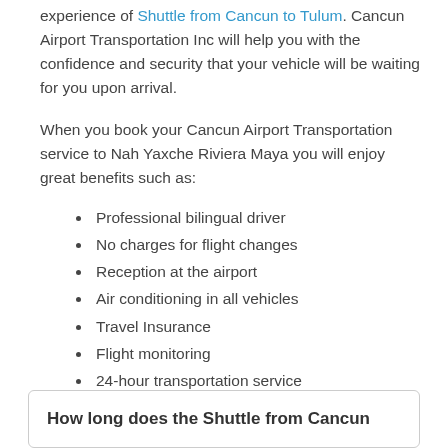experience of Shuttle from Cancun to Tulum. Cancun Airport Transportation Inc will help you with the confidence and security that your vehicle will be waiting for you upon arrival.
When you book your Cancun Airport Transportation service to Nah Yaxche Riviera Maya you will enjoy great benefits such as:
Professional bilingual driver
No charges for flight changes
Reception at the airport
Air conditioning in all vehicles
Travel Insurance
Flight monitoring
24-hour transportation service
How long does the Shuttle from Cancun